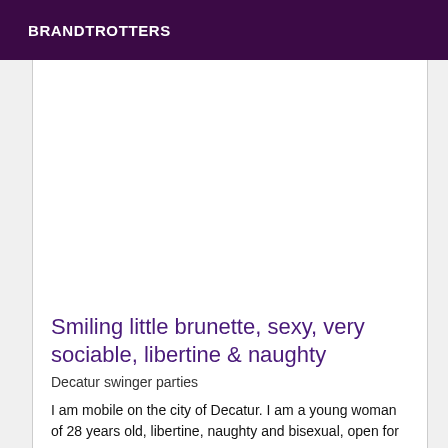BRANDTROTTERS
Smiling little brunette, sexy, very sociable, libertine & naughty
Decatur swinger parties
I am mobile on the city of Decatur. I am a young woman of 28 years old, libertine, naughty and bisexual, open for